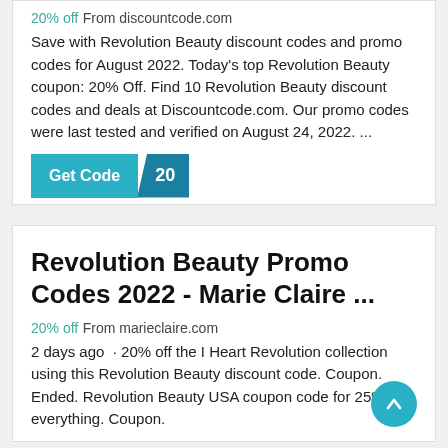20% off From discountcode.com
Save with Revolution Beauty discount codes and promo codes for August 2022. Today's top Revolution Beauty coupon: 20% Off. Find 10 Revolution Beauty discount codes and deals at Discountcode.com. Our promo codes were last tested and verified on August 24, 2022. ...
[Figure (other): Get Code button with '20' badge, teal/dark-teal split button design]
Revolution Beauty Promo Codes 2022 - Marie Claire ...
20% off From marieclaire.com
2 days ago · 20% off the I Heart Revolution collection using this Revolution Beauty discount code. Coupon. Ended. Revolution Beauty USA coupon code for 25% off everything. Coupon.